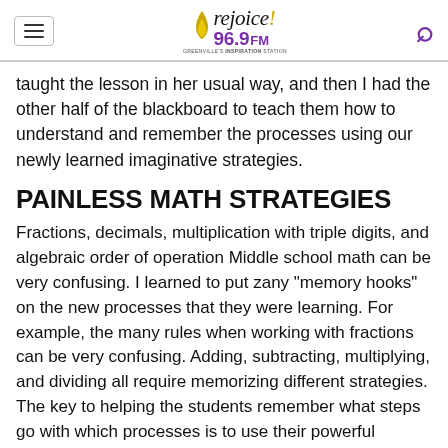Rejoice! 96.9 FM — Greenville's Inspiration Station
taught the lesson in her usual way, and then I had the other half of the blackboard to teach them how to understand and remember the processes using our newly learned imaginative strategies.
PAINLESS MATH STRATEGIES
Fractions, decimals, multiplication with triple digits, and algebraic order of operation Middle school math can be very confusing. I learned to put zany "memory hooks" on the new processes that they were learning. For example, the many rules when working with fractions can be very confusing. Adding, subtracting, multiplying, and dividing all require memorizing different strategies. The key to helping the students remember what steps go with which processes is to use their powerful imaginations.